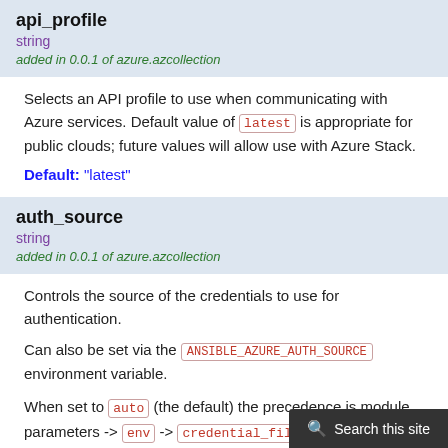api_profile
string
added in 0.0.1 of azure.azcollection
Selects an API profile to use when communicating with Azure services. Default value of `latest` is appropriate for public clouds; future values will allow use with Azure Stack.
Default: "latest"
auth_source
string
added in 0.0.1 of azure.azcollection
Controls the source of the credentials to use for authentication.
Can also be set via the ANSIBLE_AZURE_AUTH_SOURCE environment variable.
When set to `auto` (the default) the precedence is module parameters -> `env` -> `credential_file` -> `cli`.
When set to `env`, the credentials will be read